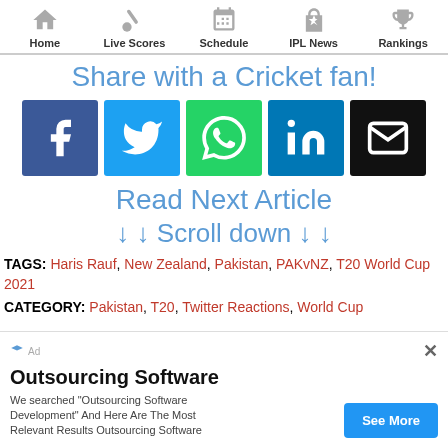Home | Live Scores | Schedule | IPL News | Rankings
Share with a Cricket fan!
[Figure (infographic): Social share buttons: Facebook, Twitter, WhatsApp, LinkedIn, Email]
Read Next Article
↓ ↓ Scroll down ↓ ↓
TAGS: Haris Rauf, New Zealand, Pakistan, PAKvNZ, T20 World Cup 2021
CATEGORY: Pakistan, T20, Twitter Reactions, World Cup
Outsourcing Software — We searched "Outsourcing Software Development" And Here Are The Most Relevant Results Outsourcing Software — See More (advertisement)